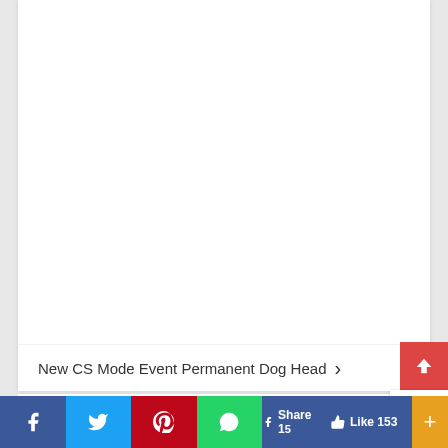[Figure (screenshot): White content card area (mostly blank/white space representing image or article content above)]
New CS Mode Event Permanent Dog Head ›
[Figure (screenshot): Scroll-to-top button (red background with white upward chevron)]
[Figure (screenshot): reCAPTCHA widget partially visible]
f  [Twitter bird]  [Pinterest P]  [WhatsApp]  Share 1[truncated]  👍 Like 153  +